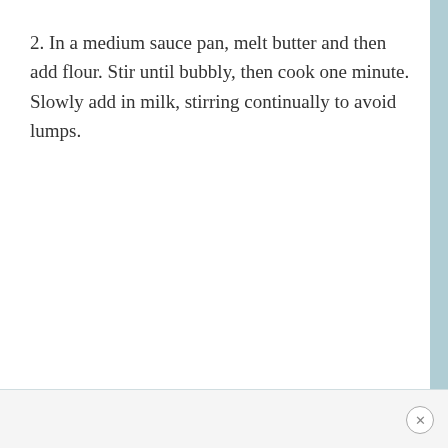2. In a medium sauce pan, melt butter and then add flour. Stir until bubbly, then cook one minute. Slowly add in milk, stirring continually to avoid lumps.